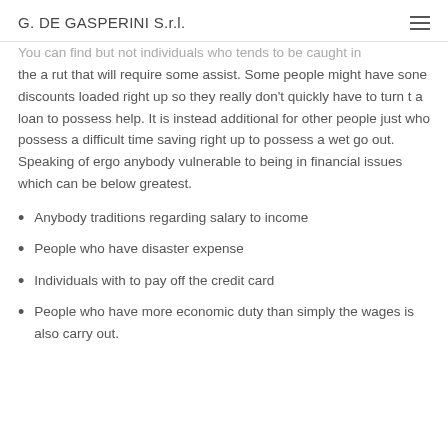G. DE GASPERINI S.r.l.
You can find but not individuals who tends to be caught in the a rut that will require some assist. Some people might have sone discounts loaded right up so they really don't quickly have to turn t a loan to possess help. It is instead additional for other people just who possess a difficult time saving right up to possess a wet go out. Speaking of ergo anybody vulnerable to being in financial issues which can be below greatest.
Anybody traditions regarding salary to income
People who have disaster expense
Individuals with to pay off the credit card
People who have more economic duty than simply the wages is also carry out.